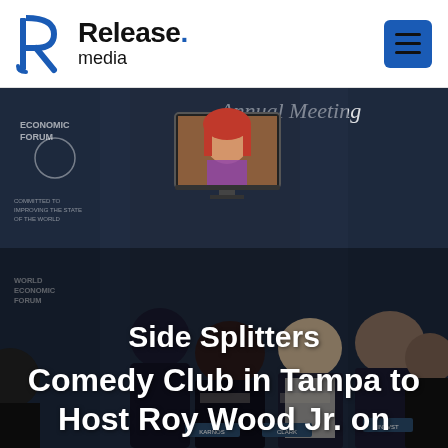Release. media
[Figure (photo): Background photo of a World Economic Forum Annual Meeting panel discussion with several people seated on stage. A screen displays a woman with red hair. Text overlays read: Side Splitters / Comedy Club in Tampa to Host Roy Wood Jr. on]
Side Splitters
Comedy Club in Tampa to Host Roy Wood Jr. on